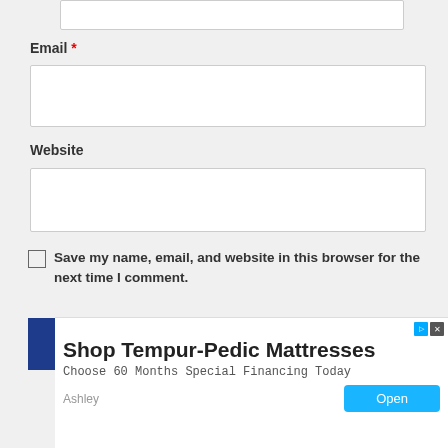[Figure (screenshot): Partial text input box at top of page (cropped from above)]
Email *
[Figure (screenshot): Empty text input field for Email]
Website
[Figure (screenshot): Empty text input field for Website]
Save my name, email, and website in this browser for the next time I comment.
[Figure (screenshot): POST COMMENT button (dark blue)]
[Figure (screenshot): Close X button]
[Figure (screenshot): Advertisement banner: Shop Tempur-Pedic Mattresses, Choose 60 Months Special Financing Today, Ashley, Open button]